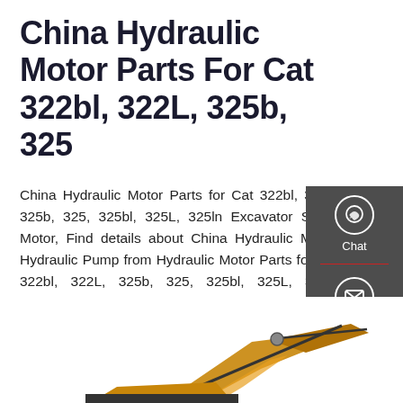China Hydraulic Motor Parts For Cat 322bl, 322L, 325b, 325
China Hydraulic Motor Parts for Cat 322bl, 322L, 325b, 325, 325bl, 325L, 325ln Excavator Swing Motor, Find details about China Hydraulic Motor, Hydraulic Pump from Hydraulic Motor Parts for Cat 322bl, 322L, 325b, 325, 325bl, 325L, 325ln Excavator Swing Motor - ...
[Figure (other): Get a Quote button - dark rounded rectangle with white text]
[Figure (other): Right sidebar panel with Chat, Email, and Contact icons on dark grey background]
[Figure (photo): Bottom portion of a yellow excavator/construction machine arm visible at the bottom of the page]